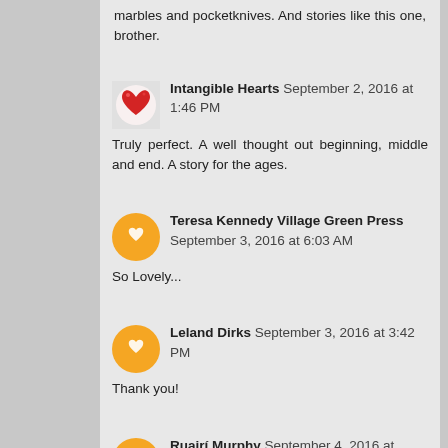marbles and pocketknives. And stories like this one, brother.
Intangible Hearts  September 2, 2016 at 1:46 PM
Truly perfect. A well thought out beginning, middle and end. A story for the ages.
Teresa Kennedy Village Green Press  September 3, 2016 at 6:03 AM
So Lovely...
Leland Dirks  September 3, 2016 at 3:42 PM
Thank you!
Ruairí Murphy  September 4, 2016 at 10:36 AM
that's beautiful Leland.